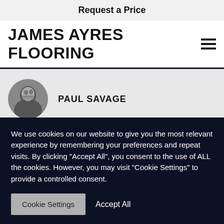Request a Price
JAMES AYRES FLOORING
PAUL SAVAGE
[Figure (photo): Circular black and white headshot of Paul Savage]
““ ★★★★★ Lovely company, very helpful from start to finish and my flooring
We use cookies on our website to give you the most relevant experience by remembering your preferences and repeat visits. By clicking "Accept All", you consent to the use of ALL the cookies. However, you may visit "Cookie Settings" to provide a controlled consent.